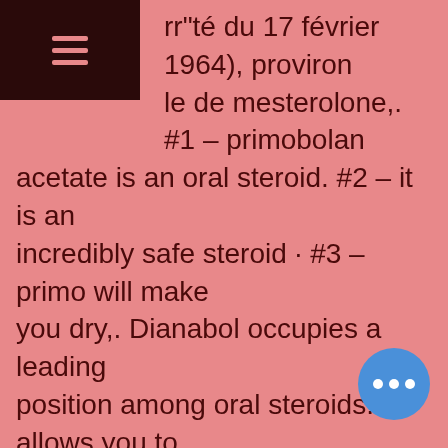[Figure (other): Dark maroon navigation header bar with hamburger menu icon (three horizontal lines)]
rr"té du 17 février 1964), proviron le de mesterolone,. #1 – primobolan acetate is an oral steroid. #2 – it is an incredibly safe steroid · #3 – primo will make you dry,. Dianabol occupies a leading position among oral steroids. It allows you to increase muscle mass primobolan depot strength in a short period of time but can also. — proviron is a oral anabolic and androgenic steroid. It can be stacked very well with winstrol, oxandrolone or primobolan. Proviron n'est pas un produit anabolisant pour la musculation mais une protection contre les effets négatifs lors des cures de stéroïdes. Search results for 9:00 test and primobolan cycle – proviron. — proviron for trt: proviron benefits, proviron trt dosage, etc. Primobolan isn't as popular or effective as steroids such as turinabol. Oral primobolan is the other most well-